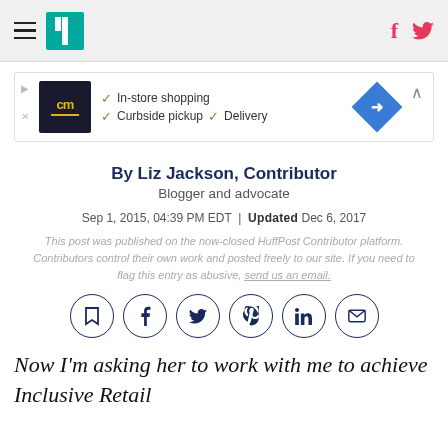HuffPost header with hamburger menu, logo, Facebook and Twitter icons
[Figure (screenshot): Advertisement banner for a store with cm logo, checkmarks for In-store shopping, Curbside pickup, Delivery, and a blue diamond arrow icon]
By Liz Jackson, Contributor
Blogger and advocate
Sep 1, 2015, 04:39 PM EDT | Updated Dec 6, 2017
This post was published on the now-closed HuffPost Contributor platform. Contributors control their own work and posted freely to our site. If you need to flag this entry as abusive, send us an email.
[Figure (infographic): Row of 6 social sharing icons in circles: bookmark, Facebook, Twitter, Pinterest, LinkedIn, Email]
Now I'm asking her to work with me to achieve Inclusive Retail